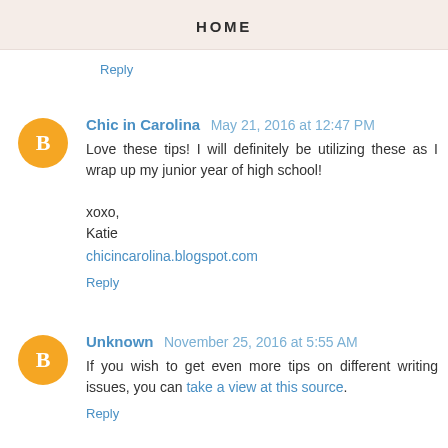HOME
Reply
Chic in Carolina May 21, 2016 at 12:47 PM
Love these tips! I will definitely be utilizing these as I wrap up my junior year of high school!

xoxo,
Katie
chicincarolina.blogspot.com
Reply
Unknown November 25, 2016 at 5:55 AM
If you wish to get even more tips on different writing issues, you can take a view at this source.
Reply